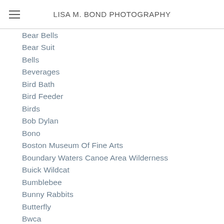LISA M. BOND PHOTOGRAPHY
Bear Bells
Bear Suit
Bells
Beverages
Bird Bath
Bird Feeder
Birds
Bob Dylan
Bono
Boston Museum Of Fine Arts
Boundary Waters Canoe Area Wilderness
Buick Wildcat
Bumblebee
Bunny Rabbits
Butterfly
Bwca
Cake
California
Camera Gadgets
Camp Menogyn